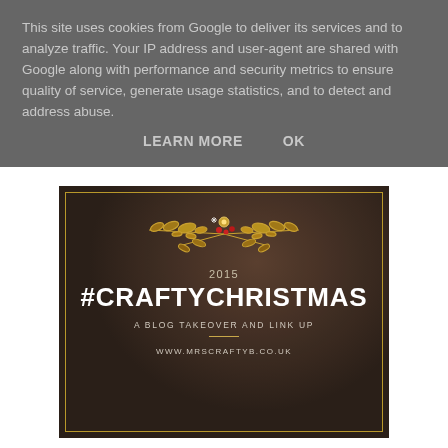This site uses cookies from Google to deliver its services and to analyze traffic. Your IP address and user-agent are shared with Google along with performance and security metrics to ensure quality of service, generate usage statistics, and to detect and address abuse.
LEARN MORE    OK
[Figure (illustration): Dark-themed promotional image with blurred Christmas cupcakes in the background. Contains gold decorative holly/wreath illustration at top, year '2015', large white bold text '#CRAFTYCHRISTMAS', subtitle 'A BLOG TAKEOVER AND LINK UP', a short gold horizontal line, and URL 'WWW.MRSCRAFTYB.CO.UK'. The image has a gold rectangular border.]